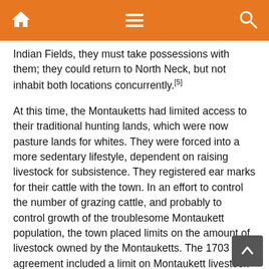[navigation bar with home, menu, and search icons]
Indian Fields, they must take possessions with them; they could return to North Neck, but not inhabit both locations concurrently.[5]
At this time, the Montauketts had limited access to their traditional hunting lands, which were now pasture lands for whites. They were forced into a more sedentary lifestyle, dependent on raising livestock for subsistence. They registered ear marks for their cattle with the town. In an effort to control the number of grazing cattle, and probably to control growth of the troublesome Montaukett population, the town placed limits on the amount of livestock owned by the Montauketts. The 1703 agreement included a limit on Montaukett livestock to 250 swine and 50 head of cattle or horses.[6]
Despite the enforced limitations on lifeways, the Montaukett population grew in small numbers and reinforced social and economic networks through exogamous marriage practices. The